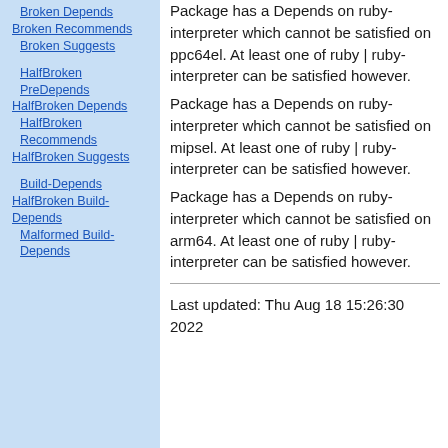Broken Depends
Broken Recommends
Broken Suggests
HalfBroken PreDepends
HalfBroken Depends
HalfBroken Recommends
HalfBroken Suggests
Build-Depends
HalfBroken Build-Depends
Malformed Build-Depends
Package has a Depends on ruby-interpreter which cannot be satisfied on ppc64el. At least one of ruby | ruby-interpreter can be satisfied however.
Package has a Depends on ruby-interpreter which cannot be satisfied on mipsel. At least one of ruby | ruby-interpreter can be satisfied however.
Package has a Depends on ruby-interpreter which cannot be satisfied on arm64. At least one of ruby | ruby-interpreter can be satisfied however.
Last updated: Thu Aug 18 15:26:30 2022